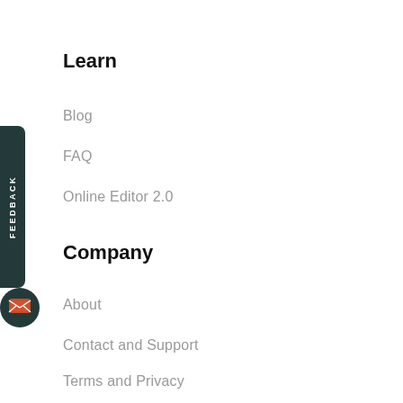Learn
Blog
FAQ
Online Editor 2.0
Company
About
Contact and Support
Terms and Privacy